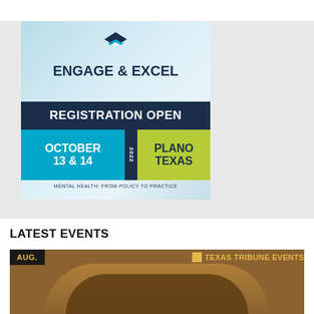[Figure (infographic): Engage & Excel conference advertisement. Logo at top, large title 'ENGAGE & EXCEL', dark navy bar reading 'REGISTRATION OPEN', cyan block with 'OCTOBER 13 & 14', year '2022' strip, lime green block with 'PLANO TEXAS', subtitle 'MENTAL HEALTH: FROM POLICY TO PRACTICE']
LATEST EVENTS
[Figure (photo): Partial photo of arched architecture in warm brown tones with 'AUG.' badge in dark background on lower left and 'TEXAS TRIBUNE EVENTS' badge on right]